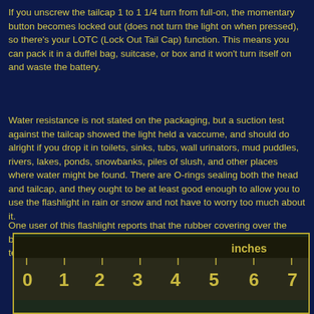If you unscrew the tailcap 1 to 1 1/4 turn from full-on, the momentary button becomes locked out (does not turn the light on when pressed), so there's your LOTC (Lock Out Tail Cap) function. This means you can pack it in a duffel bag, suitcase, or box and it won't turn itself on and waste the battery.
Water resistance is not stated on the packaging, but a suction test against the tailcap showed the light held a vaccume, and should do alright if you drop it in toilets, sinks, tubs, wall urinators, mud puddles, rivers, lakes, ponds, snowbanks, piles of slush, and other places where water might be found. There are O-rings sealing both the head and tailcap, and they ought to be at least good enough to allow you to use the flashlight in rain or snow and not have to worry too much about it.
One user of this flashlight reports that the rubber covering over the barrel makes it much more comfortable to hold this flashlight in the teeth when necessary.
[Figure (photo): Bottom portion of a ruler/scale showing numbers 0 through 7, with dark background, yellow text markings. Appears to be a measurement scale photo.]